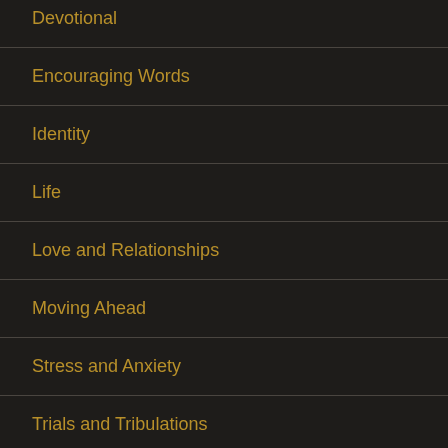Devotional
Encouraging Words
Identity
Life
Love and Relationships
Moving Ahead
Stress and Anxiety
Trials and Tribulations
Uncategorized